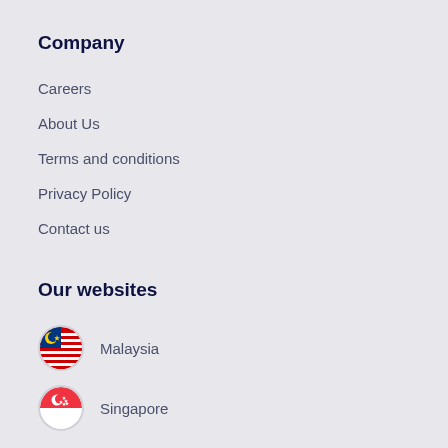Company
Careers
About Us
Terms and conditions
Privacy Policy
Contact us
Our websites
Malaysia
Singapore
Newsletter